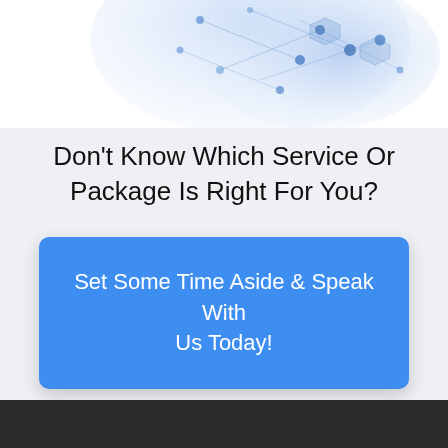[Figure (illustration): Partial view of a blue abstract network/technology illustration with connected nodes and geometric shapes on a white background]
Don't Know Which Service Or Package Is Right For You?
Set Some Time Aside & Speak With Us Today!